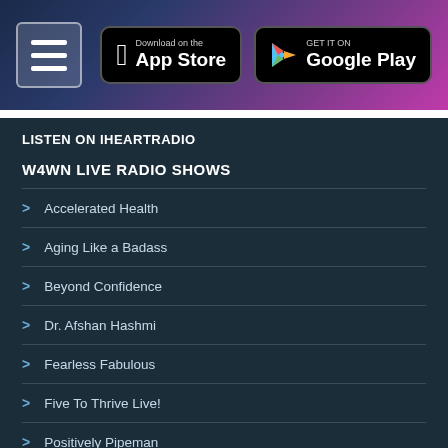[Figure (screenshot): Website header with hamburger menu icon on the left and two app store download buttons (App Store and Google Play) on the right, on a gradient background from dark blue to purple/magenta.]
LISTEN ON IHEARTRADIO
W4WN LIVE RADIO SHOWS
Accelerated Health
Aging Like a Badass
Beyond Confidence
Dr. Afshan Hashmi
Fearless Fabulous
Five To Thrive Live!
Positively Pipeman
Power of We
Rivers of LW